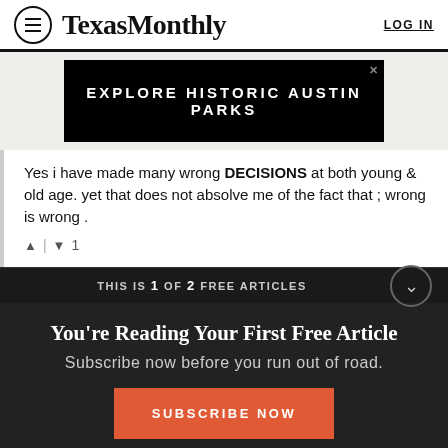TexasMonthly  LOG IN
[Figure (other): Advertisement banner: black background with text EXPLORE HISTORIC AUSTIN PARKS in white uppercase letters]
Yes i have made many wrong DECISIONS at both young & old age. yet that does not absolve me of the fact that ; wrong is wrong .
▲ | ▼ 1
THIS IS 1 OF 2 FREE ARTICLES
You're Reading Your First Free Article
Subscribe now before you run out of road.
SUBSCRIBE NOW
Already a subscriber? Log in